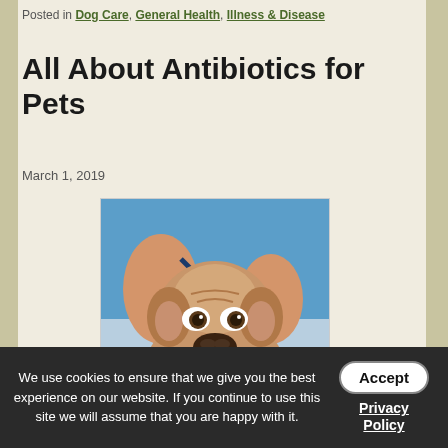Posted in Dog Care, General Health, Illness & Disease
All About Antibiotics for Pets
March 1, 2019
[Figure (photo): A bulldog puppy being examined by a veterinarian with a stethoscope]
Human patients commonly use antibiotics to treat bacterial infections. Did you know that antibiotics are
We use cookies to ensure that we give you the best experience on our website. If you continue to use this site we will assume that you are happy with it.